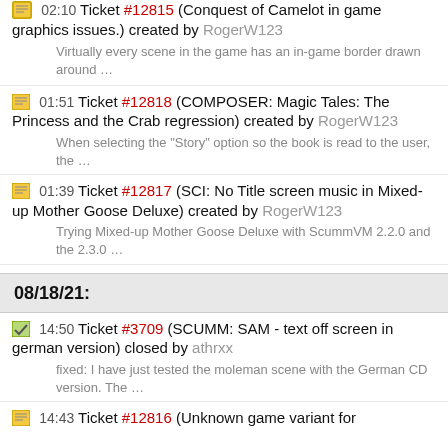02:10 Ticket #12815 (Conquest of Camelot in game graphics issues.) created by RogerW123 — Virtually every scene in the game has an in-game border drawn around …
01:51 Ticket #12818 (COMPOSER: Magic Tales: The Princess and the Crab regression) created by RogerW123 — When selecting the "Story" option so the book is read to the user, the …
01:39 Ticket #12817 (SCI: No Title screen music in Mixed-up Mother Goose Deluxe) created by RogerW123 — Trying Mixed-up Mother Goose Deluxe with ScummVM 2.2.0 and the 2.3.0 …
08/18/21:
14:50 Ticket #3709 (SCUMM: SAM - text off screen in german version) closed by athrxx — fixed: I have just tested the moleman scene with the German CD version. The …
14:43 Ticket #12816 (Unknown game variant for …